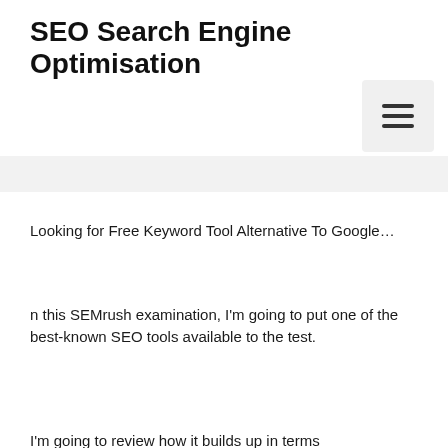SEO Search Engine Optimisation
[Figure (other): Hamburger menu button icon with three horizontal lines on a light gray rounded square background]
Looking for Free Keyword Tool Alternative To Google…
n this SEMrush examination, I'm going to put one of the best-known SEO tools available to the test.
I'm going to review how it builds up in terms